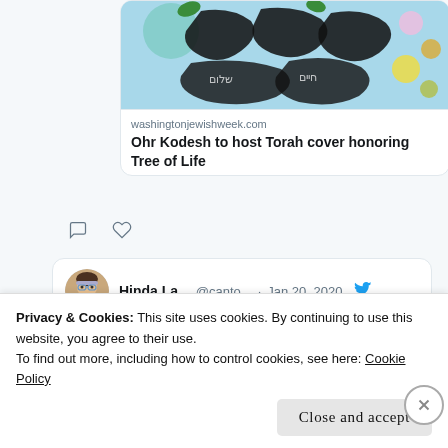[Figure (screenshot): Article card showing Hebrew-lettered artwork on light blue background, linked to washingtonjewishweek.com article 'Ohr Kodesh to host Torah cover honoring Tree of Life']
washingtonjewishweek.com
Ohr Kodesh to host Torah cover honoring Tree of Life
[Figure (screenshot): Tweet by Hinda La... @canto... Jan 20, 2020 with link facebook.com/story.php?stor...]
Hinda La... @canto... · Jan 20, 2020
facebook.com/story.php?stor...
Privacy & Cookies: This site uses cookies. By continuing to use this website, you agree to their use.
To find out more, including how to control cookies, see here: Cookie Policy
Close and accept